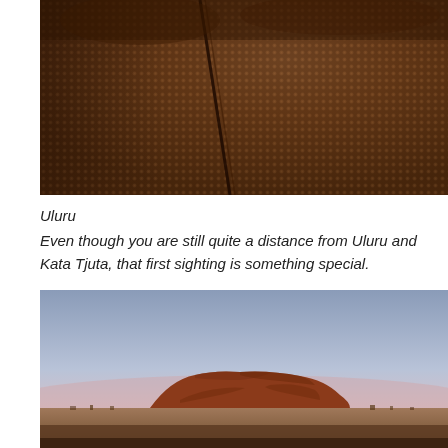[Figure (photo): Close-up photo of a metal mesh or grid surface with a repeating dot/hole pattern, warm brown/amber tones, appears to be an industrial or textured surface viewed at an angle.]
Uluru
Even though you are still quite a distance from Uluru and Kata Tjuta, that first sighting is something special.
[Figure (photo): Wide landscape photo of Uluru (Ayers Rock) at dusk/dawn, the iconic red sandstone monolith silhouetted against a pale blue-purple sky with pinkish horizon, dry scrubland in the foreground.]